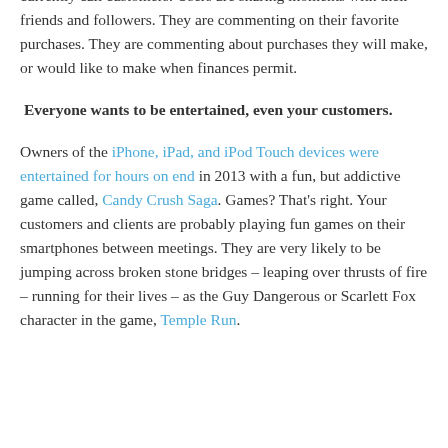apps on Android smartphones are very likely to be people you currently call customers. Users are sharing moments with their friends and followers. They are commenting on their favorite purchases. They are commenting about purchases they will make, or would like to make when finances permit.
Everyone wants to be entertained, even your customers.
Owners of the iPhone, iPad, and iPod Touch devices were entertained for hours on end in 2013 with a fun, but addictive game called, Candy Crush Saga. Games? That's right. Your customers and clients are probably playing fun games on their smartphones between meetings. They are very likely to be jumping across broken stone bridges – leaping over thrusts of fire – running for their lives – as the Guy Dangerous or Scarlett Fox character in the game, Temple Run.